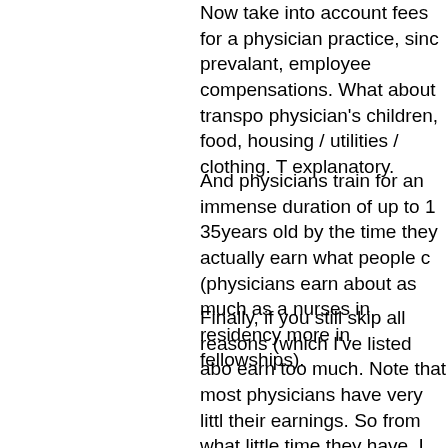Now take into account fees for a physician practice, since prevalent, employee compensations. What about transpo physician's children, food, housing / utilities / clothing. T explanatory.
And physicians train for an immense duration of up to 1 35years old by the time they actually earn what people c (physicians earn about as much as a nurses in residency more in fellowships).
Finally, if you still skip all reasons (which I've listed abo earn too much. Note that most physicians have very littl their earnings. So from what little time they have, I thin spending capacity as compensation.
October 1, 2013 at 13:13 | Report abuse |
keteshafrank2@gmail.com
How i got my Desired Loan Amount from a Reliable Lo Loan company and you can email them on: ( Adolfloanc them on: +1 571-322-5806....
..
..
June 22, 2017 at 20:37 | Report abuse |
keteshafrank2@gmail.com